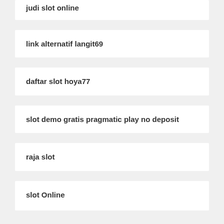judi slot online
link alternatif langit69
daftar slot hoya77
slot demo gratis pragmatic play no deposit
raja slot
slot Online